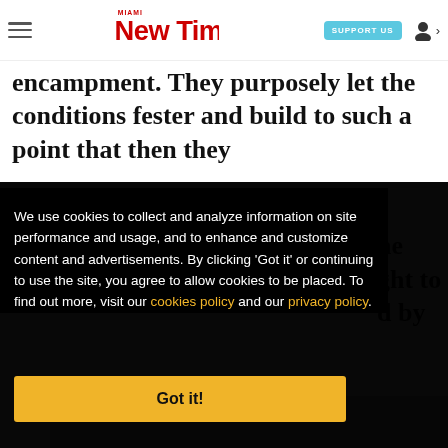Miami New Times — SUPPORT US — [user icon]
encampment. They purposely let the conditions fester and build to such a point that then they
We use cookies to collect and analyze information on site performance and usage, and to enhance and customize content and advertisements. By clicking 'Got it' or continuing to use the site, you agree to allow cookies to be placed. To find out more, visit our cookies policy and our privacy policy.
Got it!